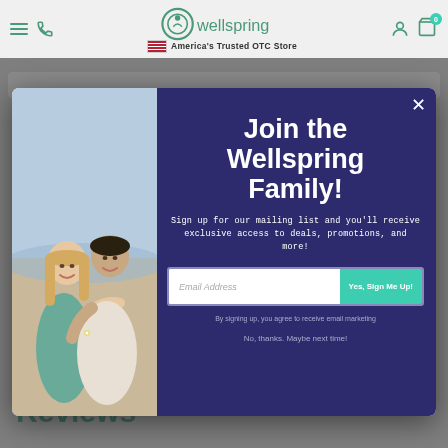wellspring — America's Trusted OTC Store
[Figure (screenshot): Modal popup overlay on Wellspring OTC store website. Left half shows photo of smiling couple on beach. Right half has dark navy background with headline 'Join the Wellspring Family!', subtitle 'Sign up for our mailing list and you'll receive exclusive access to deals, promotions, and more!', email input field with 'Yes, Sign Me Up!' button, disclaimer 'By signing up, you agree to receive email marketing', and link 'No, thanks. Maybe next time!']
Reviews